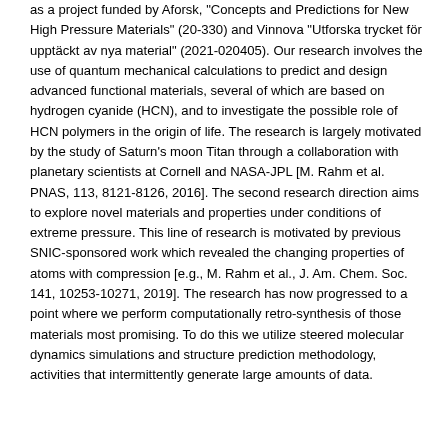as a project funded by Aforsk, "Concepts and Predictions for New High Pressure Materials" (20-330) and Vinnova "Utforska trycket för upptäckt av nya material" (2021-020405). Our research involves the use of quantum mechanical calculations to predict and design advanced functional materials, several of which are based on hydrogen cyanide (HCN), and to investigate the possible role of HCN polymers in the origin of life. The research is largely motivated by the study of Saturn's moon Titan through a collaboration with planetary scientists at Cornell and NASA-JPL [M. Rahm et al. PNAS, 113, 8121-8126, 2016]. The second research direction aims to explore novel materials and properties under conditions of extreme pressure. This line of research is motivated by previous SNIC-sponsored work which revealed the changing properties of atoms with compression [e.g., M. Rahm et al., J. Am. Chem. Soc. 141, 10253-10271, 2019]. The research has now progressed to a point where we perform computationally retro-synthesis of those materials most promising. To do this we utilize steered molecular dynamics simulations and structure prediction methodology, activities that intermittently generate large amounts of data.